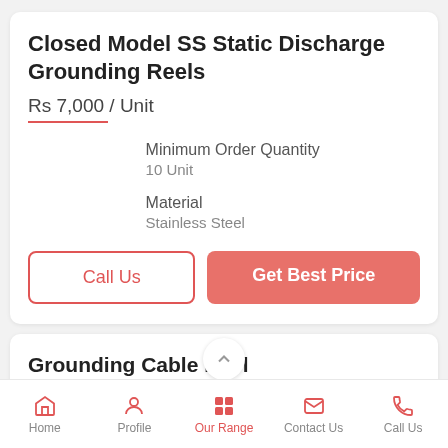Closed Model SS Static Discharge Grounding Reels
Rs 7,000 / Unit
Minimum Order Quantity
10 Unit
Material
Stainless Steel
Call Us
Get Best Price
Grounding Cable Reel
Home  Profile  Our Range  Contact Us  Call Us